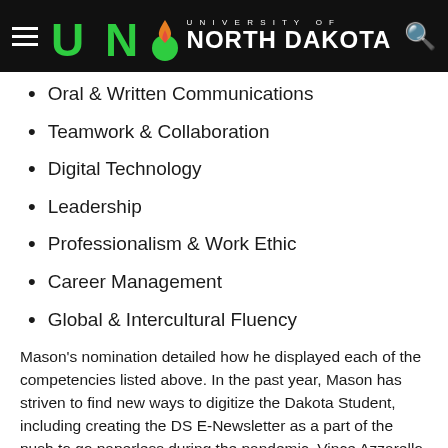University of North Dakota
Oral & Written Communications
Teamwork & Collaboration
Digital Technology
Leadership
Professionalism & Work Ethic
Career Management
Global & Intercultural Fluency
Mason's nomination detailed how he displayed each of the competencies listed above. In the past year, Mason has striven to find new ways to digitize the Dakota Student, including creating the DS E-Newsletter as a part of the push to go paperless during the pandemic. Vince Azzarello, the Dakota Student Coordinator and Mason's nominator, shared many examples of how